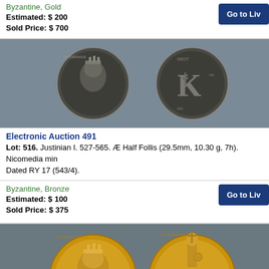Byzantine, Gold
Estimated: $ 200
Sold Price: $ 700
[Figure (photo): Two Byzantine bronze coins showing obverse with emperor bust and reverse with large K denomination mark, Justinian I Half Follis]
Electronic Auction 491
Lot: 516. Justinian I. 527-565. Æ Half Follis (29.5mm, 10.30 g, 7h). Nicomedia mint. Dated RY 17 (543/4).
Byzantine, Bronze
Estimated: $ 100
Sold Price: $ 375
[Figure (photo): Two Byzantine gold coins showing obverse with emperor portrait and reverse with standing figure, partially visible at bottom of page]